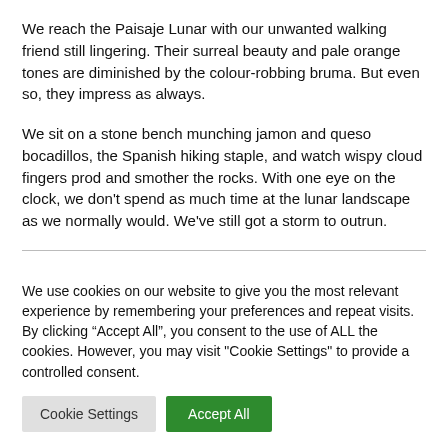We reach the Paisaje Lunar with our unwanted walking friend still lingering. Their surreal beauty and pale orange tones are diminished by the colour-robbing bruma. But even so, they impress as always.
We sit on a stone bench munching jamon and queso bocadillos, the Spanish hiking staple, and watch wispy cloud fingers prod and smother the rocks. With one eye on the clock, we don't spend as much time at the lunar landscape as we normally would. We've still got a storm to outrun.
We use cookies on our website to give you the most relevant experience by remembering your preferences and repeat visits. By clicking “Accept All”, you consent to the use of ALL the cookies. However, you may visit "Cookie Settings" to provide a controlled consent.